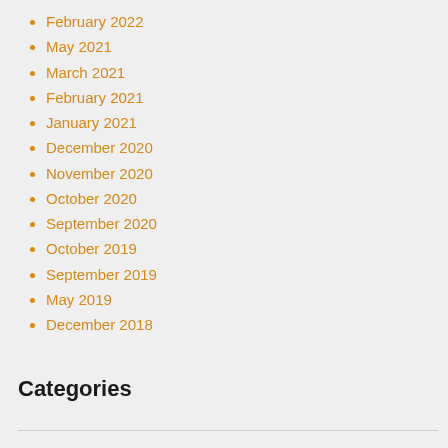February 2022
May 2021
March 2021
February 2021
January 2021
December 2020
November 2020
October 2020
September 2020
October 2019
September 2019
May 2019
December 2018
Categories